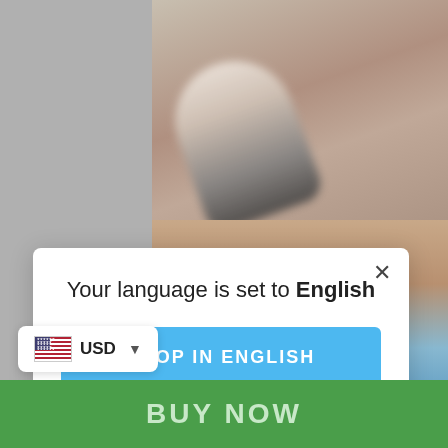[Figure (screenshot): Background showing a gray page with a product image (close-up of a nail/tool) partially visible behind a modal dialog, and a landscape photo below the modal.]
Your language is set to English
SHOP IN ENGLISH
Change language
USD
BUY NOW